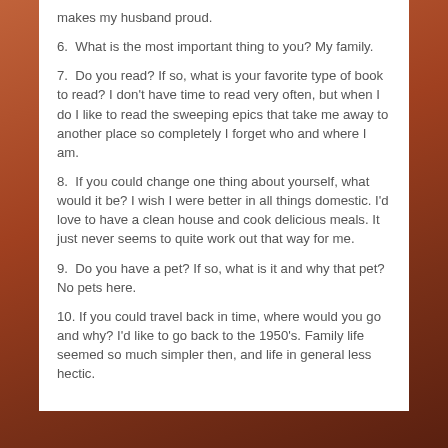makes my husband proud.
6.  What is the most important thing to you? My family.
7.  Do you read? If so, what is your favorite type of book to read? I don't have time to read very often, but when I do I like to read the sweeping epics that take me away to another place so completely I forget who and where I am.
8.  If you could change one thing about yourself, what would it be? I wish I were better in all things domestic. I'd love to have a clean house and cook delicious meals. It just never seems to quite work out that way for me.
9.  Do you have a pet? If so, what is it and why that pet? No pets here.
10. If you could travel back in time, where would you go and why? I'd like to go back to the 1950's. Family life seemed so much simpler then, and life in general less hectic.